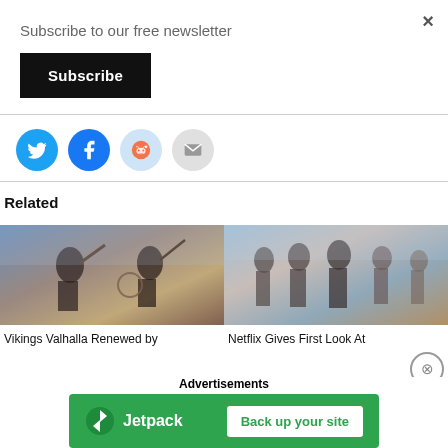×
Subscribe to our free newsletter
Subscribe
[Figure (infographic): Social share buttons: Twitter (blue bird), Facebook (blue f), Reddit (light blue alien), Email (grey envelope)]
Related
[Figure (photo): Vikings Valhalla promotional image showing warriors fighting with axes]
Vikings Valhalla Renewed by
[Figure (photo): Netflix show promotional image showing a group of people in medieval clothing]
Netflix Gives First Look At
Advertisements
[Figure (infographic): Jetpack advertisement banner with green background: Jetpack logo on left, 'Back up your site' button on right]